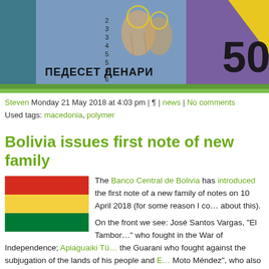[Figure (photo): Cropped image of a Macedonian 50 Denar banknote showing religious icon figures and '50' numeral with Cyrillic text ПЕДЕСЕТ ДЕНАРИ]
Steven Monday 21 May 2018 at 4:03 pm | ¶ | news | No comments
Used tags: macedonia, polymer
Bolivia issues first note of new family
[Figure (illustration): Flag of Bolivia - horizontal tricolor of red, yellow, and green stripes]
The Banco Central de Bolivia has introduced the first note of a new family of notes on 10 April 2018 (for some reason I co… about this).
On the front we see: José Santos Vargas, "El Tambor…" who fought in the War of Independence; Apiaguaiki Tü… the Guarani who fought against the subjugation of the lands of his people and E… Moto Méndez", who also fought in the struggle for the independence of Bolivia.
Additionally, we see Isla del Pescado, located in the Salar de Uyuni, a place tha…